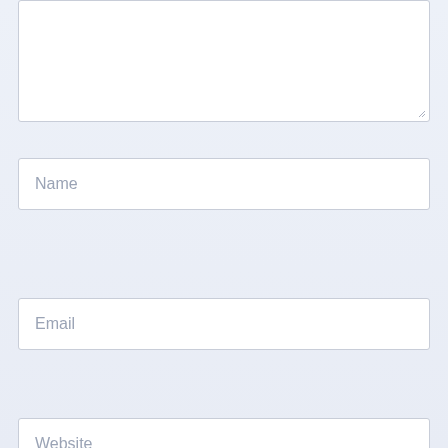[Figure (screenshot): A web form partial view showing a textarea at the top (empty, with resize handle), followed by three input fields labeled 'Name', 'Email', and 'Website' (partially visible), on a light blue-gray background.]
Name
Email
Website